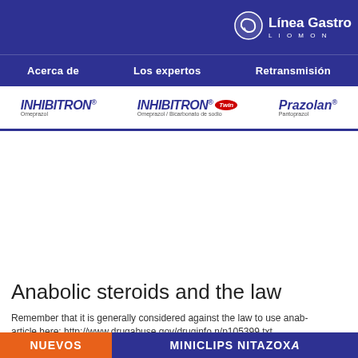[Figure (logo): Línea Gastro Liomont logo with circular stomach icon, white text on dark blue background]
Acerca de    Los expertos    Retransmisión
[Figure (logo): INHIBITRON Omeprazol brand logo in blue italic bold text]
[Figure (logo): INHIBITRON Twin Omeprazol / Bicarbonato de sodio brand logo]
[Figure (logo): Prazolan Pantoprazol brand logo in blue italic bold text]
Anabolic steroids and the law
Remember that it is generally considered against the law to use anab- article here: http://www.drugabuse.gov/druginfo n/p105399.txt
NUEVOS    MINICLIPS NITAZOX A